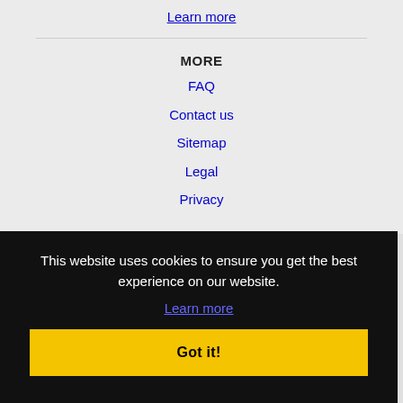Learn more
MORE
FAQ
Contact us
Sitemap
Legal
Privacy
This website uses cookies to ensure you get the best experience on our website.
Learn more
Got it!
Bethlehem, PA Jobs
Bloomfield, NJ Jobs
Bridgeport, CT Jobs
Camden, NJ Jobs